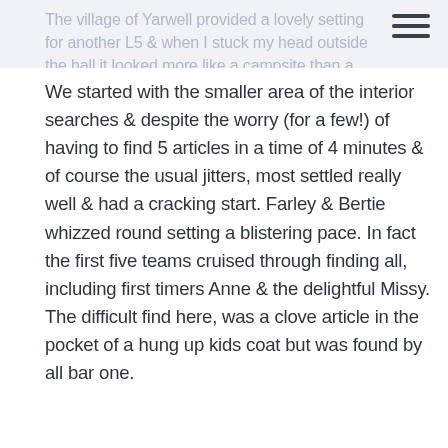The village of Yarwell provided a lovely setting for another L5 & when I stuck my head outside the hall it looked more like a campsite than a Scentwork Trial!!
We started with the smaller area of the interior searches & despite the worry (for a few!) of having to find 5 articles in a time of 4 minutes & of course the usual jitters, most settled really well & had a cracking start. Farley & Bertie whizzed round setting a blistering pace. In fact the first five teams cruised through finding all, including first timers Anne & the delightful Missy. The difficult find here, was a clove article in the pocket of a hung up kids coat but was found by all bar one.